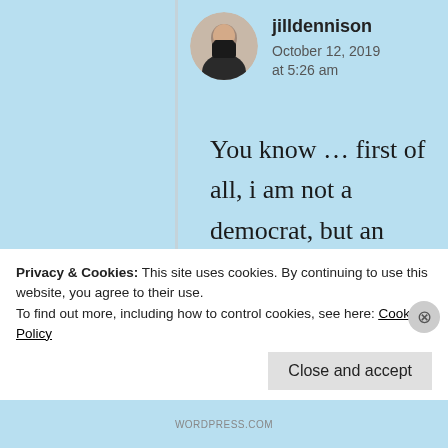[Figure (photo): Circular avatar photo of user jilldennison, showing a person in a dark jacket outdoors]
jilldennison
October 12, 2019
at 5:26 am
You know ... first of all, i am not a democrat, but an independent who has voted for both parties at one time or
Privacy & Cookies: This site uses cookies. By continuing to use this website, you agree to their use.
To find out more, including how to control cookies, see here: Cookie Policy
Close and accept